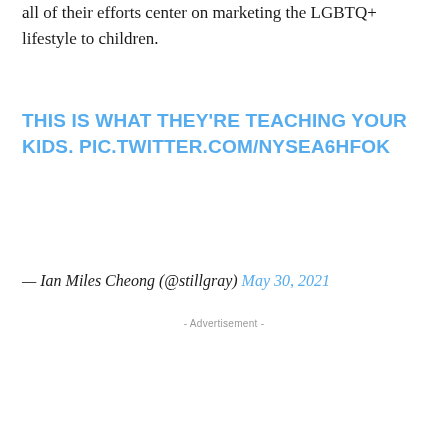all of their efforts center on marketing the LGBTQ+ lifestyle to children.
THIS IS WHAT THEY'RE TEACHING YOUR KIDS. PIC.TWITTER.COM/NYSEA6HFOK
— Ian Miles Cheong (@stillgray) May 30, 2021
- Advertisement -